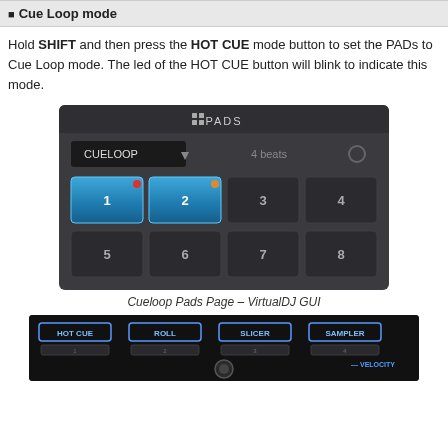Cue Loop mode
Hold SHIFT and then press the HOT CUE mode button to set the PADs to Cue Loop mode. The led of the HOT CUE button will blink to indicate this mode.
[Figure (screenshot): VirtualDJ GUI showing PADS interface with CUELOOP mode selected. 8 pad buttons in a 4x2 grid, pads 1 and 2 are highlighted in blue with colored dots. Header shows '4 beats' and a record button.]
Cueloop Pads Page – VirtualDJ GUI
[Figure (photo): Hardware controller showing HOT CUE, ROLL, SLICER, SAMPLER mode buttons and pad buttons below them, with VELOCITY label visible.]